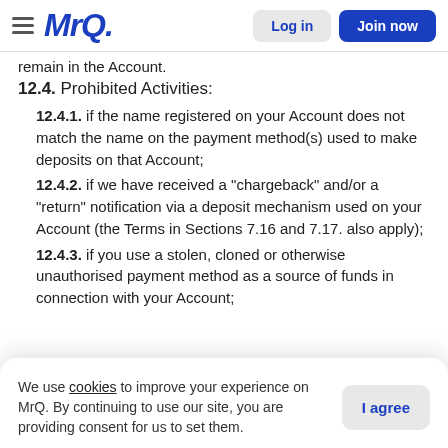MrQ | Log in | Join now
remain in the Account.
12.4. Prohibited Activities:
12.4.1. if the name registered on your Account does not match the name on the payment method(s) used to make deposits on that Account;
12.4.2. if we have received a "chargeback" and/or a "return" notification via a deposit mechanism used on your Account (the Terms in Sections 7.16 and 7.17. also apply);
12.4.3. if you use a stolen, cloned or otherwise unauthorised payment method as a source of funds in connection with your Account;
We use cookies to improve your experience on MrQ. By continuing to use our site, you are providing consent for us to set them.
your Account,